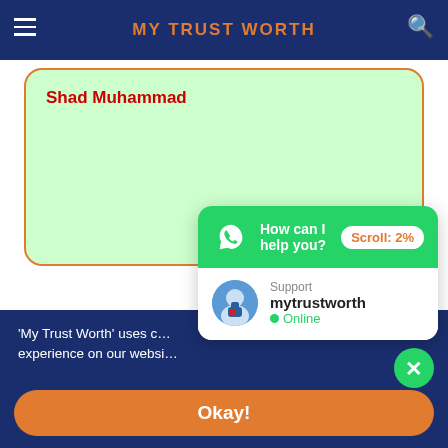MY TRUST WORTH
Shad Muhammad
'My Trust Worth' uses c… experience on our websi…
[Figure (screenshot): WhatsApp chat widget showing 'How can I help you?' with Support mytrustworth Online, and Scroll: 2% badge]
Okay!